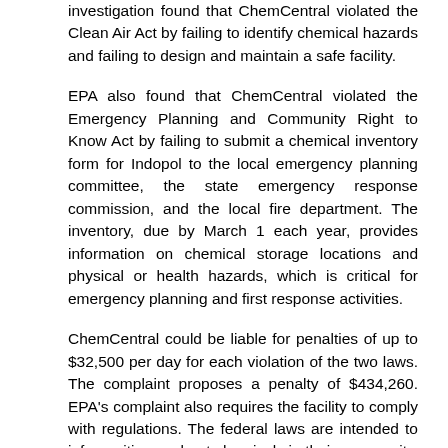investigation found that ChemCentral violated the Clean Air Act by failing to identify chemical hazards and failing to design and maintain a safe facility.
EPA also found that ChemCentral violated the Emergency Planning and Community Right to Know Act by failing to submit a chemical inventory form for Indopol to the local emergency planning committee, the state emergency response commission, and the local fire department. The inventory, due by March 1 each year, provides information on chemical storage locations and physical or health hazards, which is critical for emergency planning and first response activities.
ChemCentral could be liable for penalties of up to $32,500 per day for each violation of the two laws. The complaint proposes a penalty of $434,260. EPA's complaint also requires the facility to comply with regulations. The federal laws are intended to inform citizens about chemicals in their community, prevent releases of hazardous chemicals, protect the community and emergency responders if there is an accidental release, and improve emergency response